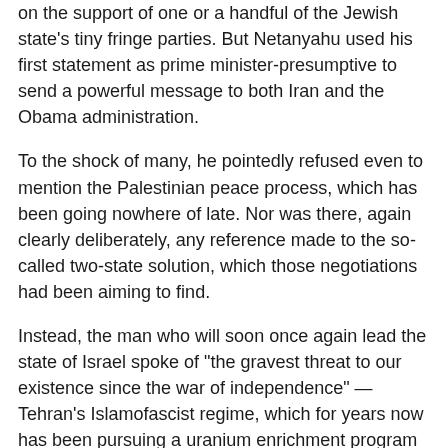on the support of one or a handful of the Jewish state's tiny fringe parties. But Netanyahu used his first statement as prime minister-presumptive to send a powerful message to both Iran and the Obama administration.
To the shock of many, he pointedly refused even to mention the Palestinian peace process, which has been going nowhere of late. Nor was there, again clearly deliberately, any reference made to the so-called two-state solution, which those negotiations had been aiming to find.
Instead, the man who will soon once again lead the state of Israel spoke of "the gravest threat to our existence since the war of independence" — Tehran's Islamofascist regime, which for years now has been pursuing a uranium enrichment program it claims to be peaceful, but which even the United Nations diplomats who seek to appease Iran know to be an unprecedented danger to the free world.